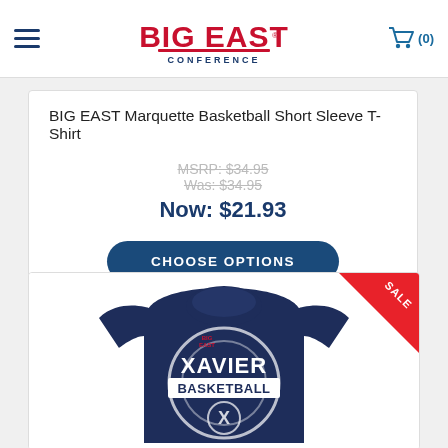BIG EAST Conference — Navigation header with hamburger menu, BIG EAST logo, and cart (0)
BIG EAST Marquette Basketball Short Sleeve T-Shirt
MSRP: $34.95
Was: $34.95
Now: $21.93
CHOOSE OPTIONS
[Figure (photo): Navy blue Xavier Basketball short sleeve T-shirt with BIG EAST logo, Xavier Basketball text and X emblem design. SALE badge in top-right corner.]